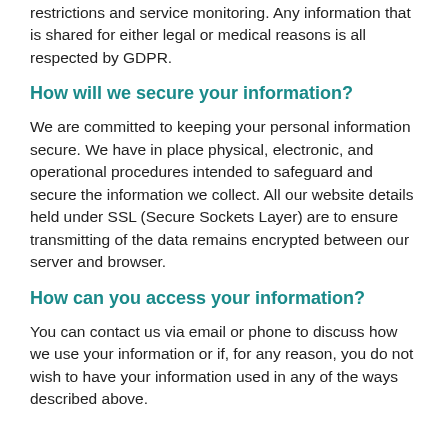restrictions and service monitoring. Any information that is shared for either legal or medical reasons is all respected by GDPR.
How will we secure your information?
We are committed to keeping your personal information secure. We have in place physical, electronic, and operational procedures intended to safeguard and secure the information we collect. All our website details held under SSL (Secure Sockets Layer) are to ensure transmitting of the data remains encrypted between our server and browser.
How can you access your information?
You can contact us via email or phone to discuss how we use your information or if, for any reason, you do not wish to have your information used in any of the ways described above.